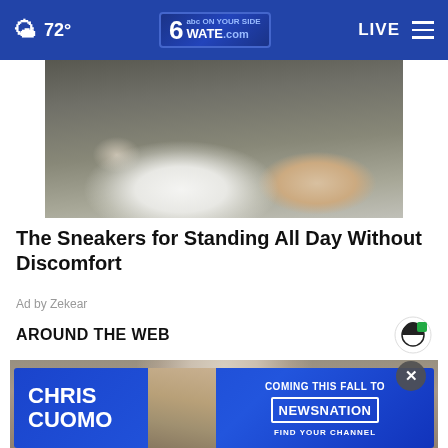72° WATE.com LIVE
[Figure (photo): Close-up photo of white sneakers with gold/tan accents on dark ground]
The Sneakers for Standing All Day Without Discomfort
Ad by Zekear
AROUND THE WEB
[Figure (photo): Photo of an elderly man's face (Joe Biden) with blurred background]
[Figure (infographic): Advertisement banner: CHRIS CUOMO COMING THIS FALL TO NEWSNATION FIND YOUR CHANNEL]